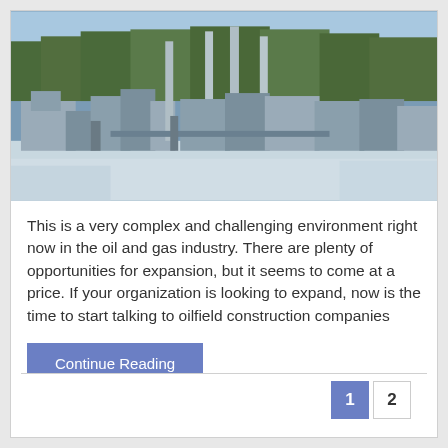[Figure (photo): Aerial/ground-level view of an industrial oil and gas processing facility in winter, surrounded by snow-covered ground and bare trees in the background. Multiple industrial structures, tanks, pipes, and tall chimneys/stacks are visible.]
This is a very complex and challenging environment right now in the oil and gas industry. There are plenty of opportunities for expansion, but it seems to come at a price. If your organization is looking to expand, now is the time to start talking to oilfield construction companies
Continue Reading
1  2